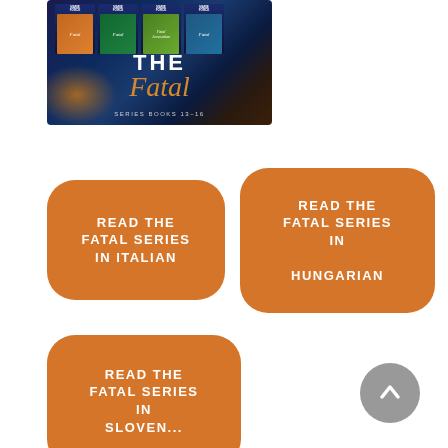[Figure (illustration): Book cover image for 'The Fatal Series Books 13-16' by Marie Force, showing a dark blue/teal background with four smaller book covers at the top, large stylized text 'THE Fatal' in the center, and 'SERIES BOOKS 13-16' at the bottom]
[Figure (infographic): Orange rounded rectangle button with white text reading 'READ THE FATAL SERIES IN ITALIAN']
[Figure (infographic): Orange rounded rectangle button with white text reading 'READ THE FATAL SERIES IN HUNGARIAN']
[Figure (infographic): Orange rounded rectangle button with white text reading 'READ THE FATAL SERIES IN SLOVENIAN' (partially visible)]
[Figure (other): Gray circular back-to-top button with upward chevron arrow]